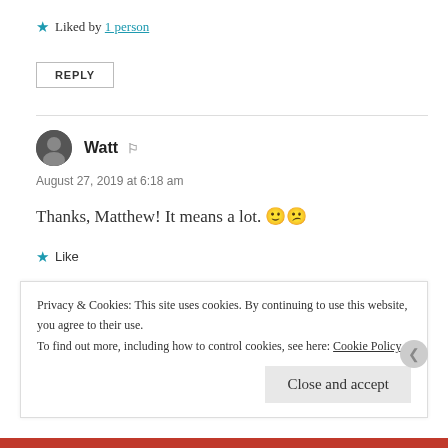★ Liked by 1 person
REPLY
Watt
August 27, 2019 at 6:18 am
Thanks, Matthew! It means a lot. 🙂 😕
★ Like
REPLY
Privacy & Cookies: This site uses cookies. By continuing to use this website, you agree to their use. To find out more, including how to control cookies, see here: Cookie Policy
Close and accept